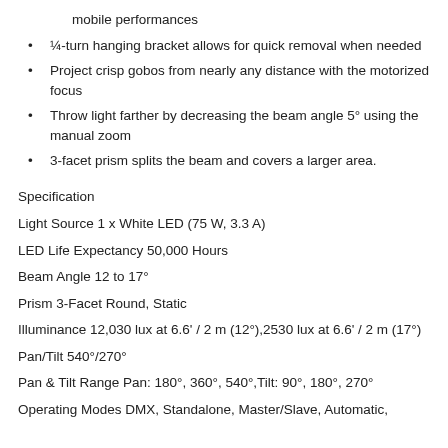mobile performances
¼-turn hanging bracket allows for quick removal when needed
Project crisp gobos from nearly any distance with the motorized focus
Throw light farther by decreasing the beam angle 5° using the manual zoom
3-facet prism splits the beam and covers a larger area.
Specification
Light Source 1 x White LED (75 W, 3.3 A)
LED Life Expectancy 50,000 Hours
Beam Angle 12 to 17°
Prism 3-Facet Round, Static
Illuminance 12,030 lux at 6.6' / 2 m (12°),2530 lux at 6.6' / 2 m (17°)
Pan/Tilt 540°/270°
Pan & Tilt Range Pan: 180°, 360°, 540°,Tilt: 90°, 180°, 270°
Operating Modes DMX, Standalone, Master/Slave, Automatic,